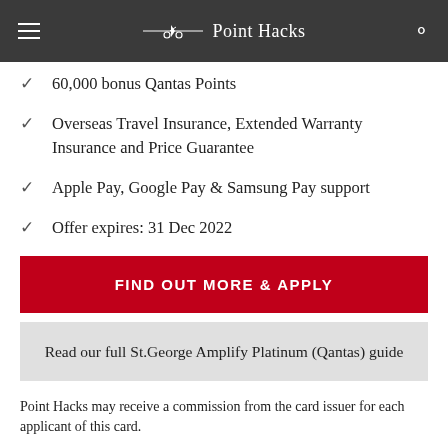Point Hacks
60,000 bonus Qantas Points
Overseas Travel Insurance, Extended Warranty Insurance and Price Guarantee
Apple Pay, Google Pay & Samsung Pay support
Offer expires: 31 Dec 2022
FIND OUT MORE & APPLY
Read our full St.George Amplify Platinum (Qantas) guide
Point Hacks may receive a commission from the card issuer for each applicant of this card.